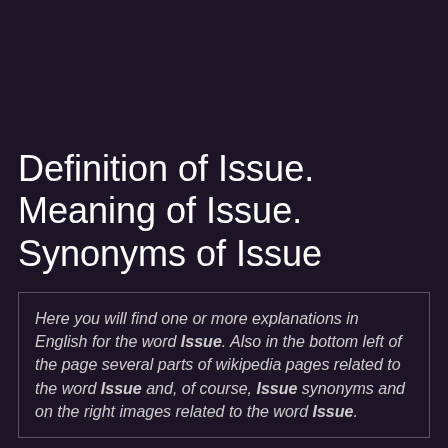Definition of Issue. Meaning of Issue. Synonyms of Issue
Here you will find one or more explanations in English for the word Issue. Also in the bottom left of the page several parts of wikipedia pages related to the word Issue and, of course, Issue synonyms and on the right images related to the word Issue.